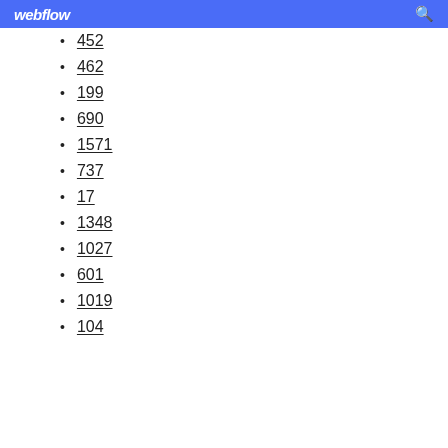webflow
452
462
199
690
1571
737
17
1348
1027
601
1019
104